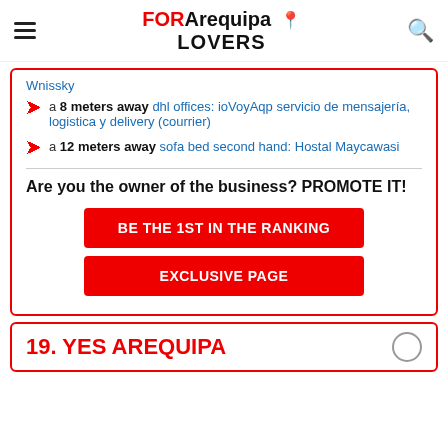FOR Arequipa LOVERS
Whissky
a 8 meters away dhl offices: ioVoyAqp servicio de mensajería, logistica y delivery (courrier)
a 12 meters away sofa bed second hand: Hostal Maycawasi
Are you the owner of the business? PROMOTE IT!
BE THE 1ST IN THE RANKING
EXCLUSIVE PAGE
19. YES AREQUIPA